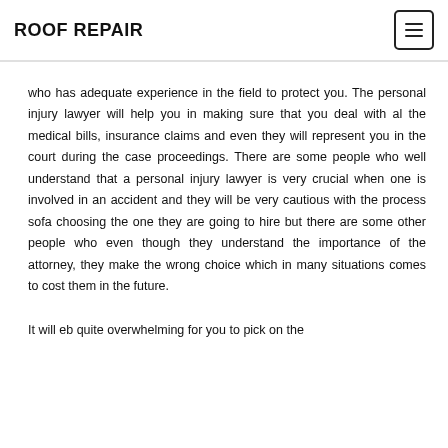ROOF REPAIR
who has adequate experience in the field to protect you. The personal injury lawyer will help you in making sure that you deal with al the medical bills, insurance claims and even they will represent you in the court during the case proceedings. There are some people who well understand that a personal injury lawyer is very crucial when one is involved in an accident and they will be very cautious with the process sofa choosing the one they are going to hire but there are some other people who even though they understand the importance of the attorney, they make the wrong choice which in many situations comes to cost them in the future.
It will eb quite overwhelming for you to pick on the